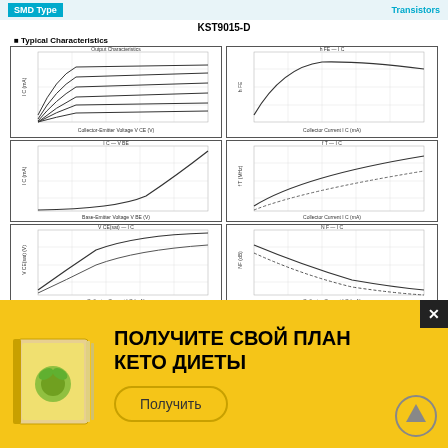SMD Type | Transistors
KST9015-D
■ Typical Characteristics
[Figure (continuous-plot): Output characteristics graph (collector current vs collector-emitter voltage) with multiple IB curves for KST9015-D transistor]
[Figure (continuous-plot): DC current gain (hFE) vs collector current curve for KST9015-D transistor]
[Figure (continuous-plot): Collector current vs VBE curve for KST9015-D transistor]
[Figure (continuous-plot): Current gain bandwidth vs collector current for KST9015-D transistor]
[Figure (continuous-plot): Saturation voltage VCEsat vs collector current for KST9015-D transistor]
[Figure (continuous-plot): Noise figure vs collector current for KST9015-D transistor]
[Figure (continuous-plot): Additional characteristics graph (partial, bottom of page) for KST9015-D transistor]
[Figure (infographic): Advertisement banner: Russian text ПОЛУЧИТЕ СВОЙ ПЛАН КЕТО ДИЕТЫ with book illustration and Получить button]